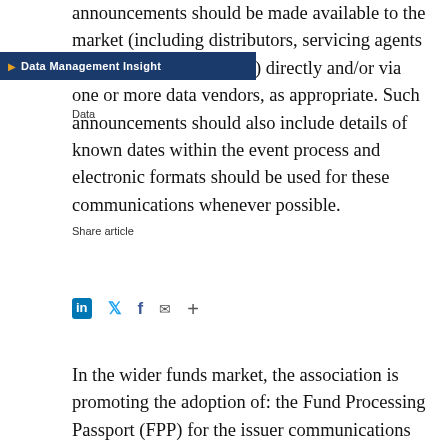announcements should be made available to the market (including distributors, servicing agents and underlying investors) directly and/or via one or more data vendors, as appropriate. Such announcements should also include details of known dates within the event process and electronic formats should be used for these communications whenever possible.
Data Management Insight
Data
Share article
In the wider funds market, the association is promoting the adoption of: the Fund Processing Passport (FPP) for the issuer communications space, which provides standards for data underlying trading and settlement; ISO 20022 for fund messaging; and ISO standard identifiers including ISINs, ISO country codes and Swift's Bank Identifier Code (BIC). The order of the day is increasing message and data standardisation, while at the same time reducing the use of